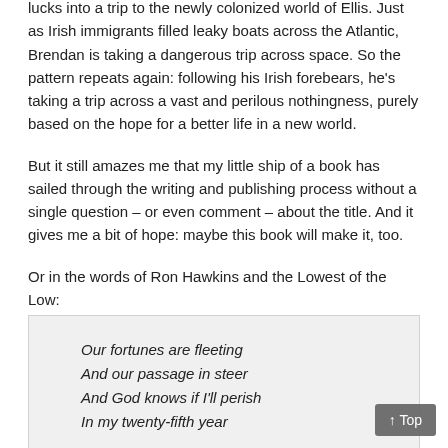lucks into a trip to the newly colonized world of Ellis. Just as Irish immigrants filled leaky boats across the Atlantic, Brendan is taking a dangerous trip across space. So the pattern repeats again: following his Irish forebears, he's taking a trip across a vast and perilous nothingness, purely based on the hope for a better life in a new world.
But it still amazes me that my little ship of a book has sailed through the writing and publishing process without a single question – or even comment – about the title. And it gives me a bit of hope: maybe this book will make it, too.
Or in the words of Ron Hawkins and the Lowest of the Low:
Our fortunes are fleeting
And our passage in steer
And God knows if I'll perish
In my twenty-fifth year

In this ship full of scurvy